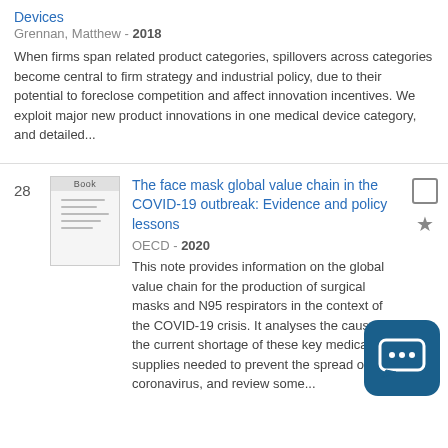Devices
Grennan, Matthew - 2018
When firms span related product categories, spillovers across categories become central to firm strategy and industrial policy, due to their potential to foreclose competition and affect innovation incentives. We exploit major new product innovations in one medical device category, and detailed...
The face mask global value chain in the COVID-19 outbreak: Evidence and policy lessons
OECD - 2020
This note provides information on the global value chain for the production of surgical masks and N95 respirators in the context of the COVID-19 crisis. It analyses the causes of the current shortage of these key medical supplies needed to prevent the spread of coronavirus, and reviews some...